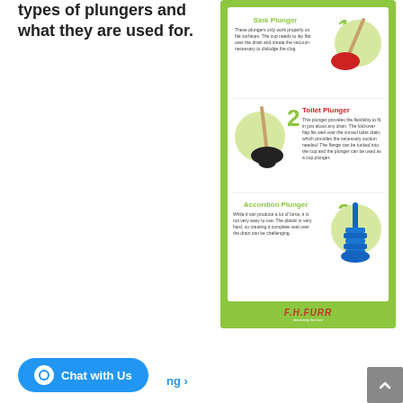There are 3 types of plungers and what they are used for.
[Figure (infographic): Infographic showing 3 types of plungers: 1. Sink Plunger (red), 2. Toilet Plunger (black), 3. Accordion Plunger (blue), with descriptions for each, on a green background with FH Furr logo]
Chat with Us
ng >